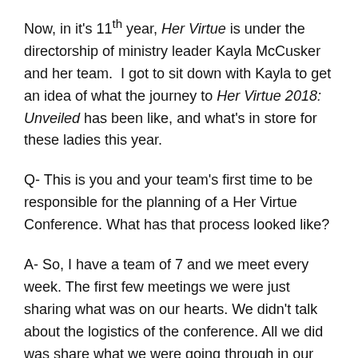Now, in it's 11th year, Her Virtue is under the directorship of ministry leader Kayla McCusker and her team. I got to sit down with Kayla to get an idea of what the journey to Her Virtue 2018: Unveiled has been like, and what's in store for these ladies this year.
Q- This is you and your team's first time to be responsible for the planning of a Her Virtue Conference. What has that process looked like?
A- So, I have a team of 7 and we meet every week. The first few meetings we were just sharing what was on our hearts. We didn't talk about the logistics of the conference. All we did was share what we were going through in our lives and things we were struggling